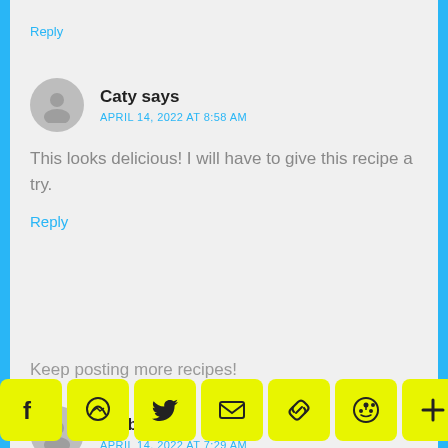Reply
Caty says
APRIL 14, 2022 AT 8:58 AM
This looks delicious! I will have to give this recipe a try.
Reply
Amber says
APRIL 14, 2022 AT 7:29 AM
Keep posting more recipes!
[Figure (infographic): Social share bar with Facebook, Messenger, Twitter, Email, Copy Link, Reddit, and More buttons in yellow, plus a share count box]